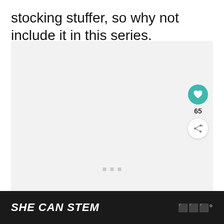stocking stuffer, so why not include it in this series.
[Figure (other): Large light gray image placeholder area with three small gray square dots at bottom center, and social interaction buttons (heart icon, count 65, share icon) on the right side.]
SHE CAN STEM